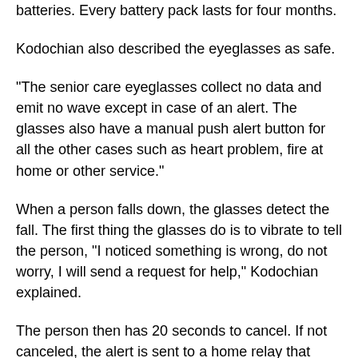batteries. Every battery pack lasts for four months.
Kodochian also described the eyeglasses as safe.
"The senior care eyeglasses collect no data and emit no wave except in case of an alert. The glasses also have a manual push alert button for all the other cases such as heart problem, fire at home or other service."
When a person falls down, the glasses detect the fall. The first thing the glasses do is to vibrate to tell the person, "I noticed something is wrong, do not worry, I will send a request for help," Kodochian explained.
The person then has 20 seconds to cancel. If not canceled, the alert is sent to a home relay that immediately contacts the care service company. The box has a mic and speaker phone so people can dialogue with professionals who quickly decide the